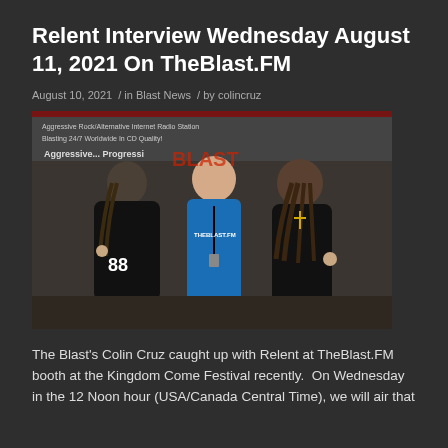Relent Interview Wednesday August 11, 2021 On TheBlast.FM
August 10, 2021  /  in Blast News  /  by colincruz
[Figure (photo): Three men posing together at a TheBlast.FM booth at the Kingdom Come Festival. The man on the left wears a black jersey with number 88 and has dreadlocks; the man in the middle wears a blue TheBlast.FM t-shirt and a lanyard; the man on the right has long dreadlocks and wears a black t-shirt with a gold cross necklace. A banner behind them reads 'Aggressive... Progressive...' and references TheBlast.FM internet radio.]
The Blast's Colin Cruz caught up with Relent at TheBlast.FM booth at the Kingdom Come Festival recently.  On Wednesday in the 12 Noon hour (USA/Canada Central Time), we will air that